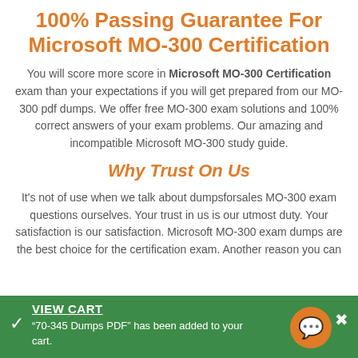100% Passing Guarantee For Microsoft MO-300 Certification
You will score more score in Microsoft MO-300 Certification exam than your expectations if you will get prepared from our MO-300 pdf dumps. We offer free MO-300 exam solutions and 100% correct answers of your exam problems. Our amazing and incompatible Microsoft MO-300 study guide.
Why Trust On Us
It’s not of use when we talk about dumpsforsales MO-300 exam questions ourselves. Your trust in us is our utmost duty. Your satisfaction is our satisfaction. Microsoft MO-300 exam dumps are the best choice for the certification exam. Another reason you can
VIEW CART
“70-345 Dumps PDF” has been added to your cart.